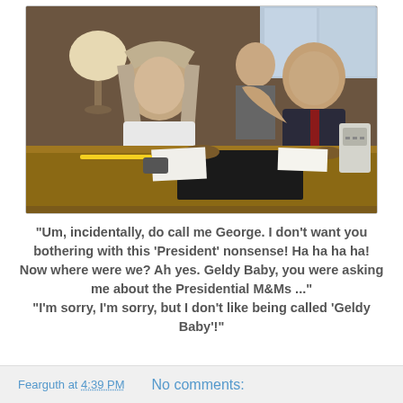[Figure (photo): Two men sitting across a large wooden desk in what appears to be an office or meeting room on Air Force One. The man on the left has shoulder-length gray-blond hair and wears a white jacket. The man on the right wears a dark jacket and is gesturing with his hand. A woman is visible in the background. A lamp and telephones are visible on and near the desk.]
"Um, incidentally, do call me George. I don't want you bothering with this 'President' nonsense! Ha ha ha ha! Now where were we? Ah yes. Geldy Baby, you were asking me about the Presidential M&Ms ..." "I'm sorry, I'm sorry, but I don't like being called 'Geldy Baby'!"
Fearguth at 4:39 PM   No comments: